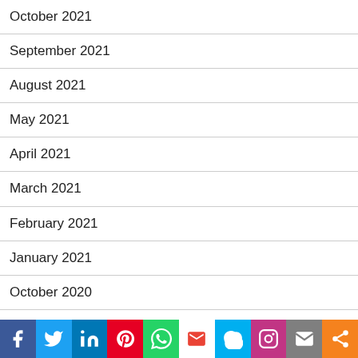October 2021
September 2021
August 2021
May 2021
April 2021
March 2021
February 2021
January 2021
October 2020
September 2020
August 2020
July 2020